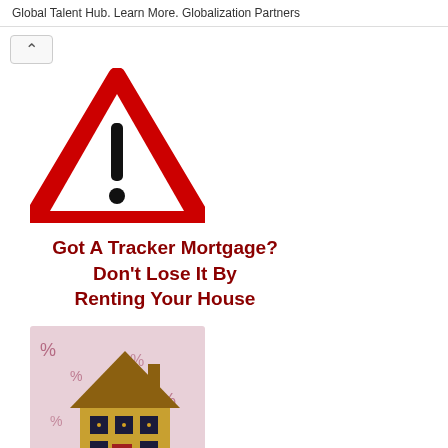Global Talent Hub. Learn More. Globalization Partners
[Figure (illustration): Red warning triangle with exclamation mark]
Got A Tracker Mortgage? Don't Lose It By Renting Your House
[Figure (photo): Golden house model on top of financial documents showing percent signs]
Current Mortgage Rates BOI, AIB, PTSB, KBC & Mortgage Calculator
[Figure (photo): Green house or roof partially visible at bottom of page]